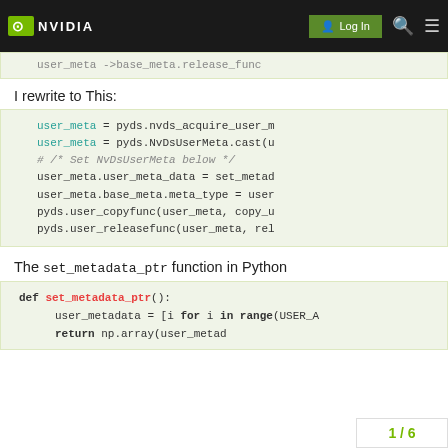NVIDIA | Log In
[Figure (screenshot): Partial code block showing: user_meta ->base_meta.release_func]
I rewrite to This:
[Figure (screenshot): Code block: user_meta = pyds.nvds_acquire_user_m
user_meta = pyds.NvDsUserMeta.cast(u
# /* Set NvDsUserMeta below */
user_meta.user_meta_data = set_metad
user_meta.base_meta.meta_type = user
pyds.user_copyfunc(user_meta, copy_u
pyds.user_releasefunc(user_meta, rel]
The set_metadata_ptr function in Python
[Figure (screenshot): Code block: def set_metadata_ptr():
    user_metadata = [i for i in range(USER_A
    return np.array(user_metad]
1 / 6